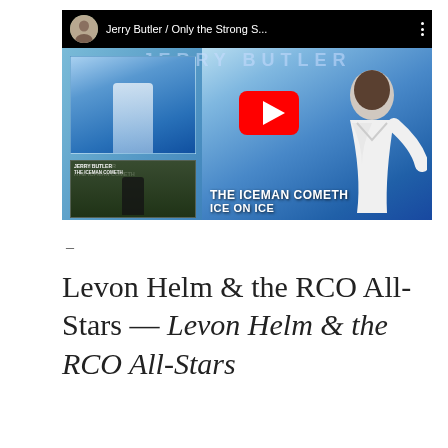[Figure (screenshot): YouTube video thumbnail for 'Jerry Butler / Only the Strong S...' showing album art for The Iceman Cometh and Ice on Ice, with a YouTube play button overlay. Two album covers are visible on the left, and a figure of Jerry Butler in a white suit is on the right against an icy blue background. Text reads 'THE ICEMAN COMETH ICE ON ICE'.]
–
Levon Helm & the RCO All-Stars — Levon Helm & the RCO All-Stars